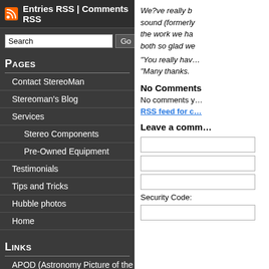Entries RSS | Comments RSS
We?ve really b... sound (formerly ... the work we ha... both so glad we...
“You really hav…
“Many thanks.”
Pages
Contact StereoMan
Stereoman’s Blog
Services
Stereo Components
Pre-Owned Equipment
Testimonials
Tips and Tricks
Hubble photos
Home
Links
APOD (Astronomy Picture of the Day)
No Comments
No comments y…
RSS feed for c…
Leave a comm…
Security Code: